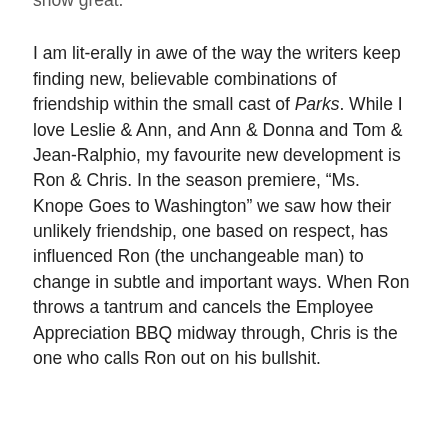show great.
I am lit-erally in awe of the way the writers keep finding new, believable combinations of friendship within the small cast of Parks. While I love Leslie & Ann, and Ann & Donna and Tom & Jean-Ralphio, my favourite new development is Ron & Chris. In the season premiere, “Ms. Knope Goes to Washington” we saw how their unlikely friendship, one based on respect, has influenced Ron (the unchangeable man) to change in subtle and important ways. When Ron throws a tantrum and cancels the Employee Appreciation BBQ midway through, Chris is the one who calls Ron out on his bullshit.